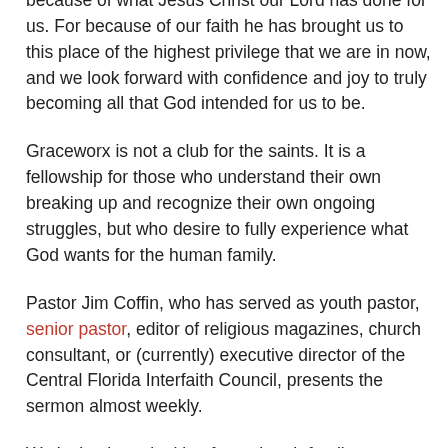promises', we can have true peace with him because of what Jesus Christ our Lord has done for us. For because of our faith he has brought us to this place of the highest privilege that we are in now, and we look forward with confidence and joy to truly becoming all that God intended for us to be.
Graceworx is not a club for the saints. It is a fellowship for those who understand their own breaking up and recognize their own ongoing struggles, but who desire to fully experience what God wants for the human family.
Pastor Jim Coffin, who has served as youth pastor, senior pastor, editor of religious magazines, church consultant, or (currently) executive director of the Central Florida Interfaith Council, presents the sermon almost weekly.
We invite those looking for a church family – or those who simply wish to get to know another congregation in the Apopka community – to stop by for a visit at any time. Be blessed with